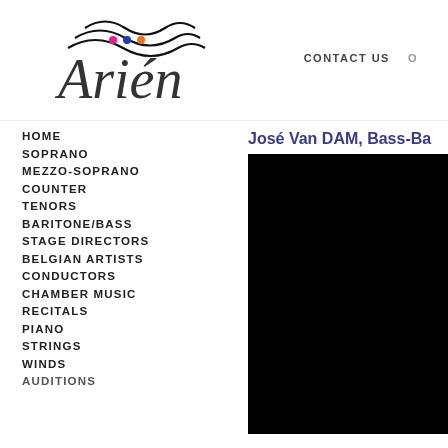[Figure (logo): Arien logo with decorative wave lines and three colored dots (pink, blue, orange) above the letters]
CONTACT US
HOME
SOPRANO
MEZZO-SOPRANO
COUNTER
TENORS
BARITONE/BASS
STAGE DIRECTORS
BELGIAN ARTISTS
CONDUCTORS
CHAMBER MUSIC
RECITALS
PIANO
STRINGS
WINDS
AUDITIONS
José Van DAM, Bass-Ba
[Figure (photo): Black image/video area showing a performer]